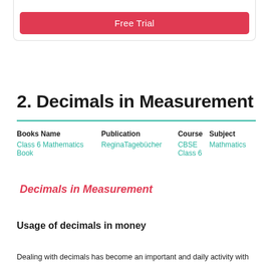[Figure (other): Free Trial button inside a bordered card box]
2. Decimals in Measurement
| Books Name | Publication | Course | Subject |
| --- | --- | --- | --- |
| Class 6 Mathematics Book | ReginaTagebücher | CBSE Class 6 | Mathmatics |
Decimals in Measurement
Usage of decimals in money
Dealing with decimals has become an important and daily activity with